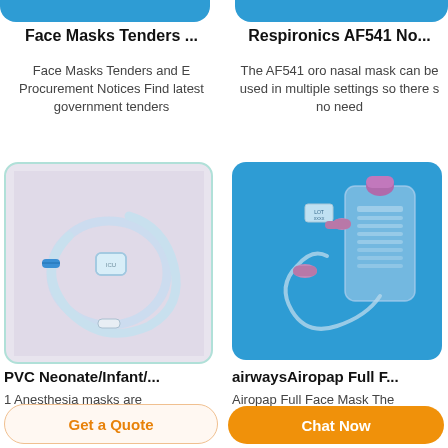Face Masks Tenders ...
Face Masks Tenders and E Procurement Notices Find latest government tenders
Respironics AF541 No...
The AF541 oro nasal mask can be used in multiple settings so there s no need
[Figure (photo): PVC clear anesthesia breathing circuit/mask with blue connector on lavender background]
[Figure (photo): IV infusion bag with tubing and purple connectors on blue background]
PVC Neonate/Infant/...
1 Anesthesia masks are
airwaysAiropap Full F...
Airopap Full Face Mask The
Get a Quote
Chat Now